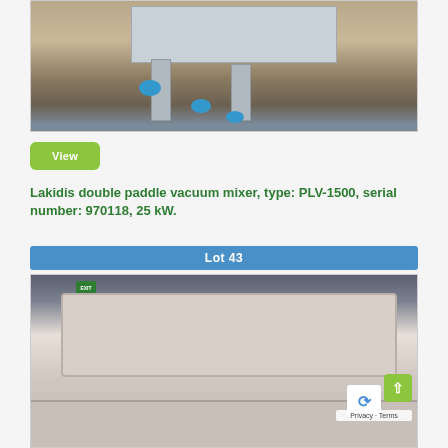[Figure (photo): Close-up photo of industrial machine legs with blue leveling feet on a concrete floor]
View
Lakidis double paddle vacuum mixer, type: PLV-1500, serial number: 970118, 25 kW.
Lot 43
[Figure (photo): Photo of a large industrial Lakidis double paddle vacuum mixer machine showing the top lid and control panel]